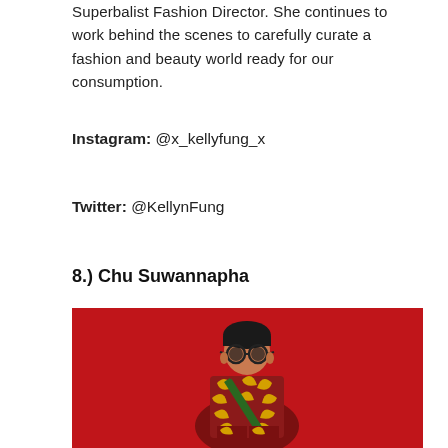Superbalist Fashion Director. She continues to work behind the scenes to carefully curate a fashion and beauty world ready for our consumption.
Instagram: @x_kellyfung_x
Twitter: @KellynFung
8.) Chu Suwannapha
[Figure (photo): A person wearing round sunglasses and a bold African-print patterned suit in red, yellow, and dark tones, standing against a bright red background.]